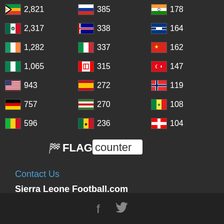[Figure (infographic): Flag counter widget showing country flags with visitor counts in three columns. Left column: South Africa 2,821 / Mexico 2,317 / Ireland 1,282 / Nigeria 1,065 / USA 943 / Germany 757 / Mali 596. Middle column: Russia 385 / Australia 338 / Italy 337 / Canada 315 / Spain 272 / Gambia 270 / Ghana 236. Right column: India 178 / Finland 164 / Vietnam 162 / Turkey 147 / Norway 119 / Senegal 108 / Switzerland 104. FLAG counter logo shown below.]
Contact Us
Sierra Leone Football.com
email: cserv@sierraleonefootball.com
Tel:+44 (0)7574 851961
Copyright / sierraleonefootball.com